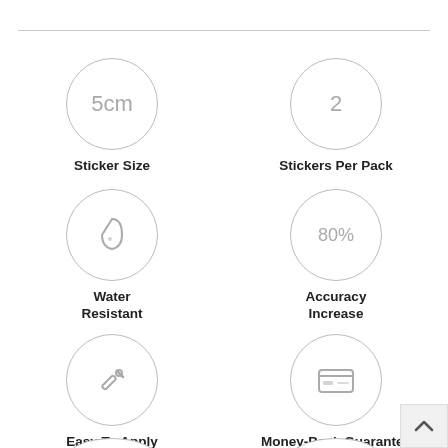[Figure (infographic): Six product feature icons in a 2-column grid: Sticker Size (5cm circle), Stickers Per Pack (2), Water Resistant (water drop icon), Accuracy Increase (80%), Easy To Apply (wrench icon), Money-Back Guarantee (credit card icon), plus two partially visible circles at bottom]
Sticker Size
Stickers Per Pack
Water Resistant
Accuracy Increase
Easy To Apply
Money-Back Guarantee